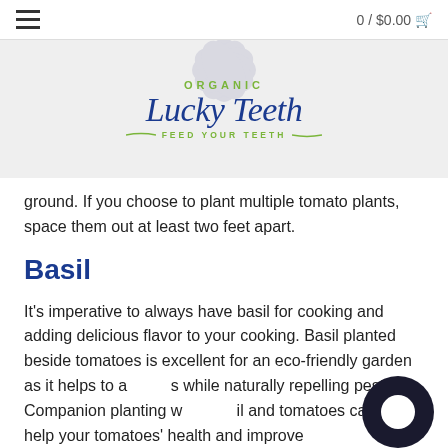0 / $0.00
[Figure (logo): Organic Lucky Teeth logo with decorative floral background, tagline FEED YOUR TEETH]
ground. If you choose to plant multiple tomato plants, space them out at least two feet apart.
Basil
It’s imperative to always have basil for cooking and adding delicious flavor to your cooking. Basil planted beside tomatoes is excellent for an eco-friendly garden as it helps to attract [beneficial insects] while naturally repelling pests. Companion planting with basil and tomatoes can also help your tomatoes’ health and improve